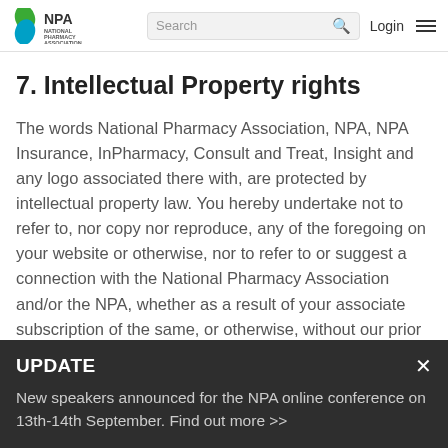NPA National Pharmacy Association | Search | Login
7. Intellectual Property rights
The words National Pharmacy Association, NPA, NPA Insurance, InPharmacy, Consult and Treat, Insight and any logo associated there with, are protected by intellectual property law. You hereby undertake not to refer to, nor copy nor reproduce, any of the foregoing on your website or otherwise, nor to refer to or suggest a connection with the National Pharmacy Association and/or the NPA, whether as a result of your associate subscription of the same, or otherwise, without our prior written permission.
UPDATE
New speakers announced for the NPA online conference on 13th-14th September. Find out more >>